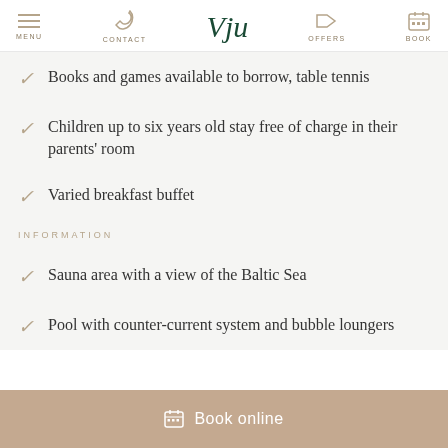MENU | CONTACT | Vju (logo) | OFFERS | BOOK
Books and games available to borrow, table tennis
Children up to six years old stay free of charge in their parents' room
Varied breakfast buffet
INFORMATION
Sauna area with a view of the Baltic Sea
Pool with counter-current system and bubble loungers
Book online